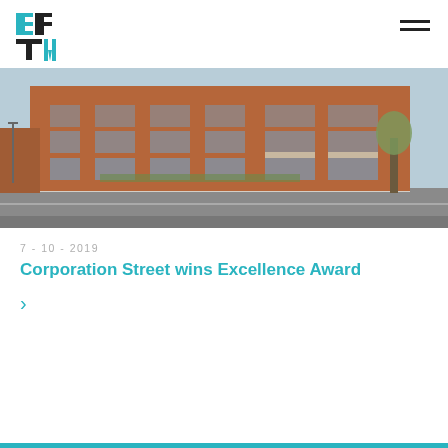BPTW logo and navigation
[Figure (photo): Exterior photo of a modern multi-storey brick residential building on Corporation Street, with balconies, large windows, a pavement and road in the foreground, and trees on the right.]
7 - 10 - 2019
Corporation Street wins Excellence Award
>